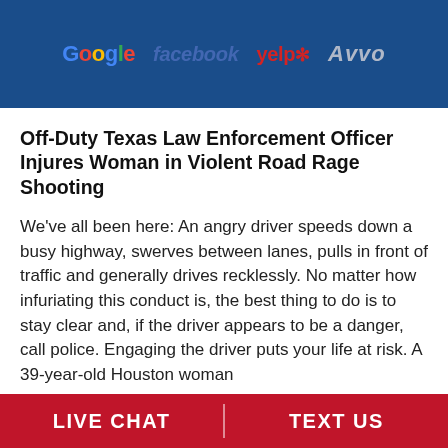[Figure (logo): Header bar with review platform logos: Google, facebook, yelp, Avvo on a dark blue background]
Off-Duty Texas Law Enforcement Officer Injures Woman in Violent Road Rage Shooting
We’ve all been here: An angry driver speeds down a busy highway, swerves between lanes, pulls in front of traffic and generally drives recklessly. No matter how infuriating this conduct is, the best thing to do is to stay clear and, if the driver appears to be a danger, call police. Engaging the driver puts your life at risk. A 39-year-old Houston woman...
LIVE CHAT | TEXT US